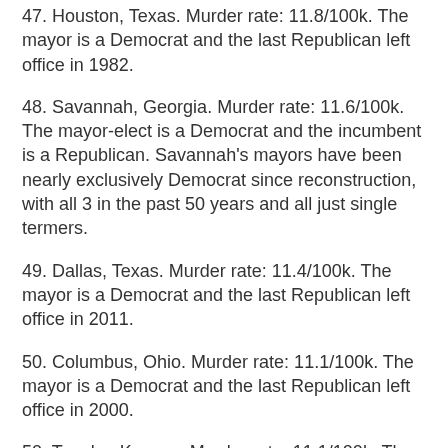47. Houston, Texas.  Murder rate: 11.8/100k.  The mayor is a Democrat and the last Republican left office in 1982.
48. Savannah, Georgia.  Murder rate: 11.6/100k.  The mayor-elect is a Democrat and the incumbent is a Republican.  Savannah's mayors have been nearly exclusively Democrat since reconstruction, with all 3 in the past 50 years and all just single termers.
49. Dallas, Texas.  Murder rate: 11.4/100k.  The mayor is a Democrat and the last Republican left office in 2011.
50. Columbus, Ohio.  Murder rate: 11.1/100k.  The mayor is a Democrat and the last Republican left office in 2000.
50. Topeka, Kansas.  Murder rate: 11.1/100k.  The mayor is a Democrat and the last Republican left office in 2013.
52. Fort Lauderdale, Florida.  Murder rate: 11/100k.  The mayor is a Democrat from a long line of them.
53. Beaumont, Texas.  Murder rate: 10.9/100k.